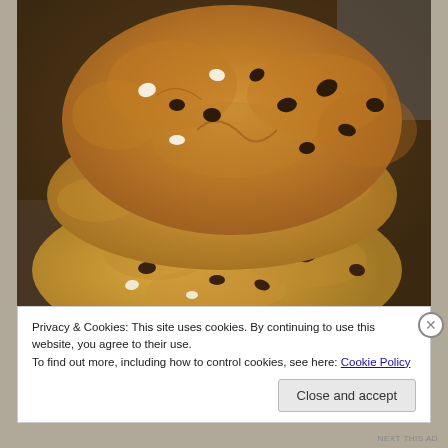[Figure (photo): Close-up photograph of stacked chocolate chip cookies with white chips on a dark surface background]
Privacy & Cookies: This site uses cookies. By continuing to use this website, you agree to their use.
To find out more, including how to control cookies, see here: Cookie Policy
Close and accept